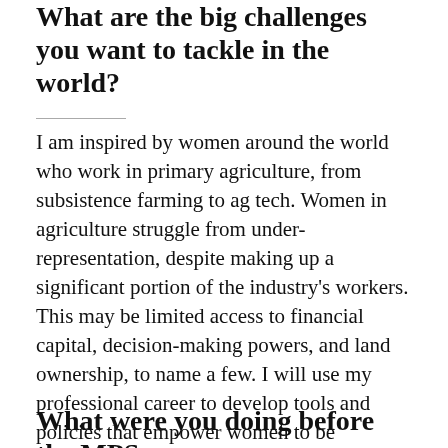What are the big challenges you want to tackle in the world?
I am inspired by women around the world who work in primary agriculture, from subsistence farming to ag tech. Women in agriculture struggle from under-representation, despite making up a significant portion of the industry's workers. This may be limited access to financial capital, decision-making powers, and land ownership, to name a few. I will use my professional career to develop tools and policies that empower women to be successful in the world's most important industry because empowered women mean an empowered world.
What were you doing before the MPS